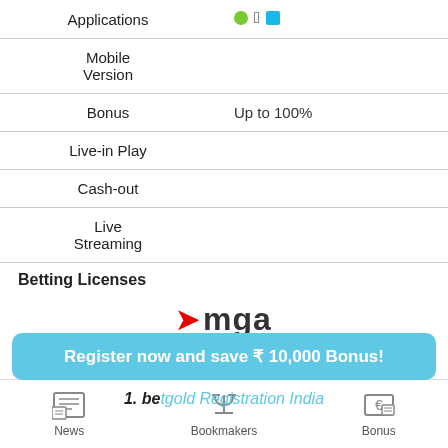| Applications | Android, Apple, Windows |
| Mobile Version |  |
| Bonus | Up to 100% |
| Live-in Play |  |
| Cash-out |  |
| Live Streaming |  |
Betting Licenses
[Figure (logo): MGA (Malta Gaming Authority) Licensed logo with red arrow and teal LICENSED bar]
Register now and save ₹ 10,000 Bonus!
1. betgold Registration India